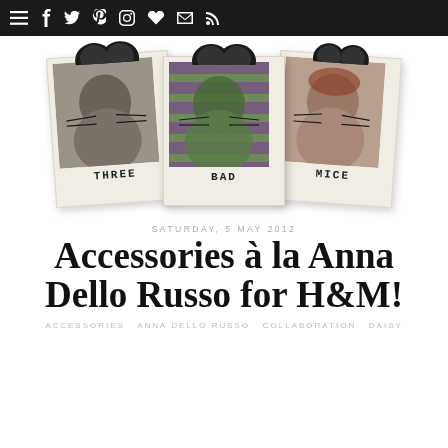Navigation bar with menu and social icons
[Figure (photo): Three Polaroid-style photos of three women dressed as mice with mouse ears and drawn whiskers, labeled THREE, BAD, MICE]
SATURDAY, 5 MAY 2012
Accessories à la Anna Dello Russo for H&M!
ACCESSORIES  ANNA DELLO RUSSO  COLLABORATION  DAISY